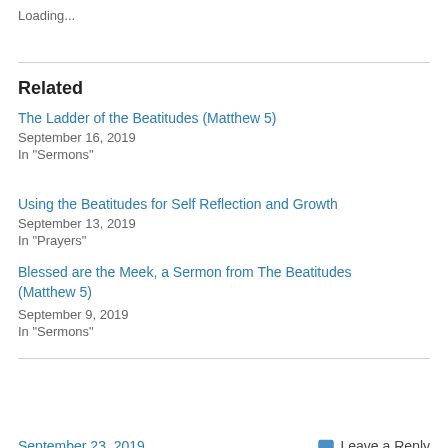Loading...
Related
The Ladder of the Beatitudes (Matthew 5)
September 16, 2019
In "Sermons"
Using the Beatitudes for Self Reflection and Growth
September 13, 2019
In "Prayers"
Blessed are the Meek, a Sermon from The Beatitudes (Matthew 5)
September 9, 2019
In "Sermons"
September 23, 2019    Leave a Reply